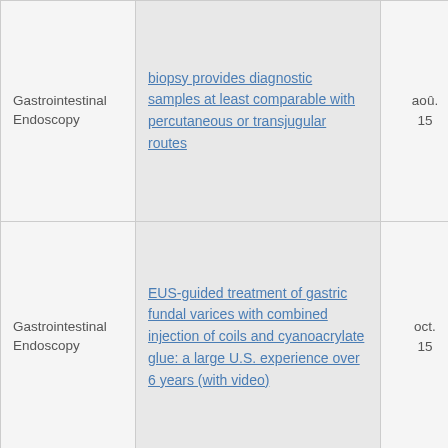| Category | Article | Date | Score |
| --- | --- | --- | --- |
| Gastrointestinal Endoscopy | biopsy provides diagnostic samples at least comparable with percutaneous or transjugular routes | aoû. 15 | 4 ♥ |
| Gastrointestinal Endoscopy | EUS-guided treatment of gastric fundal varices with combined injection of coils and cyanoacrylate glue: a large U.S. experience over 6 years (with video) | oct. 15 | 1 ♥ |
|  | Evaluation of APRI |  |  |